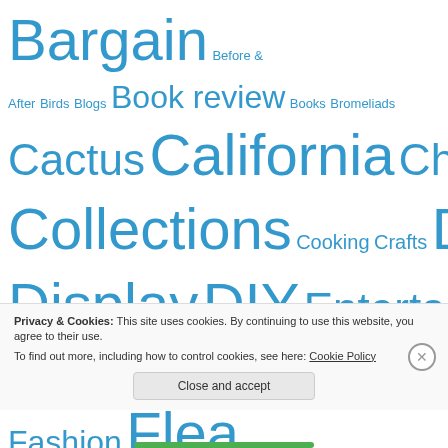Bargain Before & After Birds Blogs Book review Books Bromeliads Cactus California Chihuahuas Collections Cooking Crafts Design Display DIY Entertaining Farmers Market Fashion Flea Market Flowers Folk art Fruit Garage Sale Garden Garden Show Holiday Indoor Inspirations LA Landscaping ... Off-site
Privacy & Cookies: This site uses cookies. By continuing to use this website, you agree to their use. To find out more, including how to control cookies, see here: Cookie Policy
Close and accept